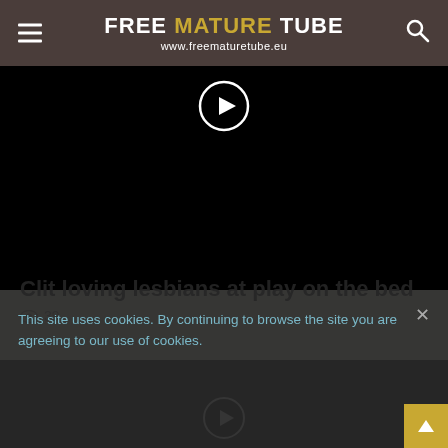FREE MATURE TUBE www.freematuretube.eu
[Figure (screenshot): Black video player with circular play button, first video thumbnail]
Clit loving lesbians at play on the bed
39 views
[Figure (screenshot): Black video player with circular play button, second video thumbnail]
This site uses cookies. By continuing to browse the site you are agreeing to our use of cookies.